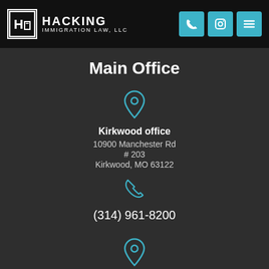[Figure (logo): Hacking Immigration Law, LLC logo with stylized H-i letter mark in a box, white text on black header background, with phone, WhatsApp, and menu icon buttons in teal on right]
Main Office
[Figure (illustration): Teal location pin icon]
Kirkwood office
10900 Manchester Rd
# 203
Kirkwood, MO 63122
[Figure (illustration): Teal phone icon]
(314) 961-8200
[Figure (illustration): Teal location pin icon]
San Diego Office
110 West A Street